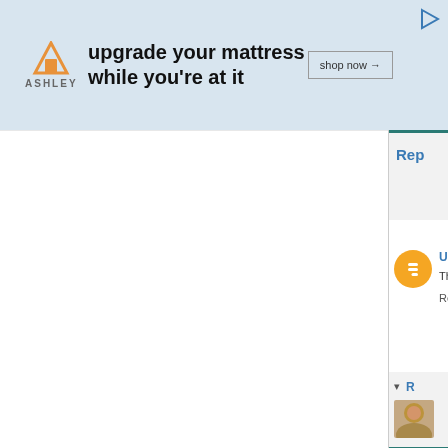[Figure (screenshot): Ashley Furniture advertisement banner with orange house logo, text 'upgrade your mattress while you're at it', and 'shop now' button on light blue background]
[Figure (screenshot): Blog comment section with collapse button, vertical divider, user comment from 'Unknown' with Blogger icon, nested reply section with person avatar, and Reply buttons]
Unk
Tha
Reply
R
Rep
Rep